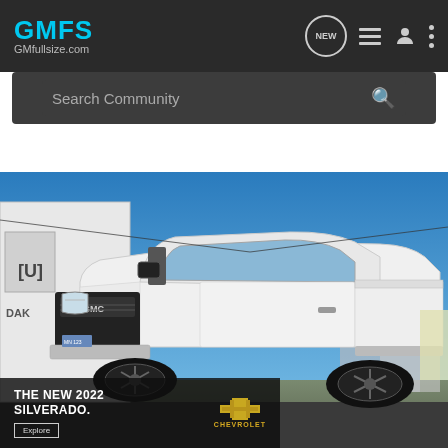GMFS GMfullsize.com
Search Community
[Figure (photo): White GMC Sierra single-cab pickup truck with black wheels, lowered stance, parked in a lot with a blue sky background and a white building/trailer visible on the left. A Chevrolet Silverado 2022 advertisement banner overlays the bottom-left of the image with text 'THE NEW 2022 SILVERADO.' and an Explore button.]